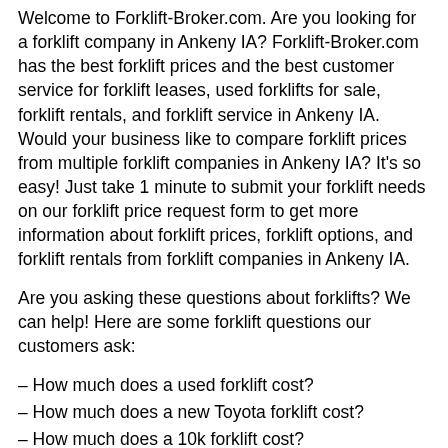Welcome to Forklift-Broker.com. Are you looking for a forklift company in Ankeny IA? Forklift-Broker.com has the best forklift prices and the best customer service for forklift leases, used forklifts for sale, forklift rentals, and forklift service in Ankeny IA. Would your business like to compare forklift prices from multiple forklift companies in Ankeny IA? It's so easy! Just take 1 minute to submit your forklift needs on our forklift price request form to get more information about forklift prices, forklift options, and forklift rentals from forklift companies in Ankeny IA.
Are you asking these questions about forklifts? We can help! Here are some forklift questions our customers ask:
– How much does a used forklift cost?
– How much does a new Toyota forklift cost?
– How much does a 10k forklift cost?
– How much does a new forklift cost?
– How much is a Yale forklift?